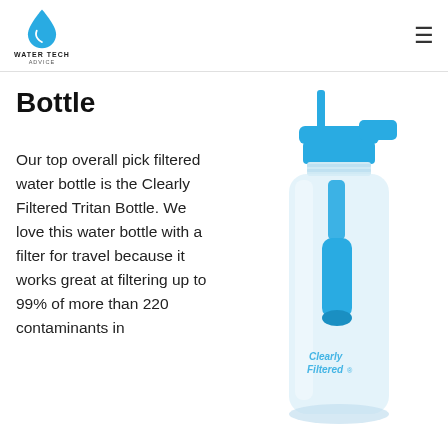WATER TECH ADVICE
Bottle
Our top overall pick filtered water bottle is the Clearly Filtered Tritan Bottle. We love this water bottle with a filter for travel because it works great at filtering up to 99% of more than 220 contaminants in
[Figure (photo): A clear Clearly Filtered Tritan water bottle with a blue flip-top lid and straw, containing a blue filter element inside the transparent bottle body. The Clearly Filtered logo is visible on the bottle.]